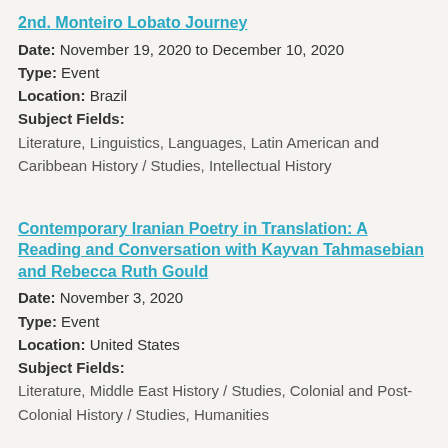2nd. Monteiro Lobato Journey
Date: November 19, 2020 to December 10, 2020
Type: Event
Location: Brazil
Subject Fields:
Literature, Linguistics, Languages, Latin American and Caribbean History / Studies, Intellectual History
Contemporary Iranian Poetry in Translation: A Reading and Conversation with Kayvan Tahmasebian and Rebecca Ruth Gould
Date: November 3, 2020
Type: Event
Location: United States
Subject Fields:
Literature, Middle East History / Studies, Colonial and Post-Colonial History / Studies, Humanities
Translation as Activism: A Conversation
Date: October 27, 2020
Type: Event
Location: Egypt